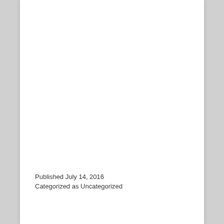Published July 14, 2016
Categorized as Uncategorized